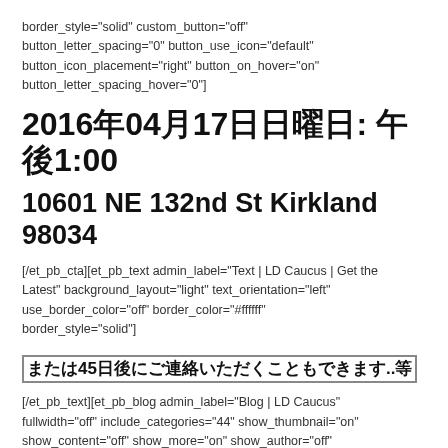border_style="solid" custom_button="off" button_letter_spacing="0" button_use_icon="default" button_icon_placement="right" button_on_hover="on" button_letter_spacing_hover="0"]
2016年04月17日日曜日: 午後1:00
10601 NE 132nd St Kirkland 98034
[/et_pb_cta][et_pb_text admin_label="Text | LD Caucus | Get the Latest" background_layout="light" text_orientation="left" use_border_color="off" border_color="#ffffff" border_style="solid"]
または45日後にご連絡いただくこともできます...等
[/et_pb_text][et_pb_blog admin_label="Blog | LD Caucus" fullwidth="off" include_categories="44" show_thumbnail="on" show_content="off" show_more="on" show_author="off" show_date="off" show_categories="on" show_comments="off"